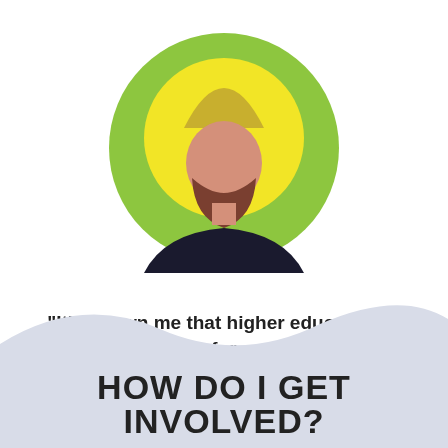[Figure (illustration): Circular avatar illustration of a person with a dark beard wearing a black top, with a yellow inner circle and green outer circle background, representing a Sikh or South Asian male figure with a turban shape.]
"It's shown me that higher education is for people like me."
HOW DO I GET INVOLVED?